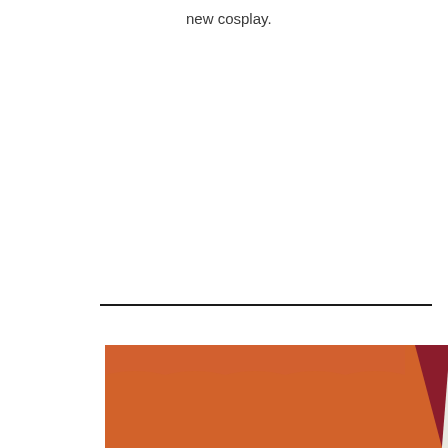new cosplay.
[Figure (photo): A cutting mat (green) with orange fabric strips laid out in a V/star pattern, with a white stripe in the center and dark red/maroon edges, viewed from above on a crafting table. A small dark rectangular object (eraser or tool) is visible in the upper right area of the mat.]